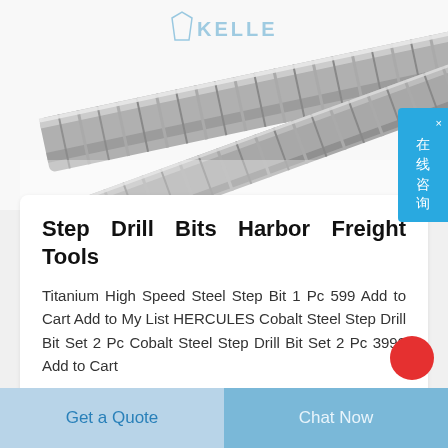[Figure (photo): Photo of metallic spiral step drill bits, silver/chrome colored, with a watermark logo reading 'KELLE' with a tie icon in light blue]
Step Drill Bits Harbor Freight Tools
Titanium High Speed Steel Step Bit 1 Pc 599 Add to Cart Add to My List HERCULES Cobalt Steel Step Drill Bit Set 2 Pc Cobalt Steel Step Drill Bit Set 2 Pc 3999 Add to Cart